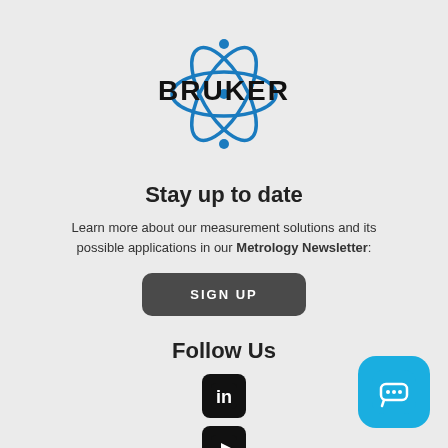[Figure (logo): Bruker logo with atomic orbital symbol in blue and black bold BRUKER text]
Stay up to date
Learn more about our measurement solutions and its possible applications in our Metrology Newsletter:
[Figure (other): SIGN UP button, dark rounded rectangle with white uppercase text]
Follow Us
[Figure (other): LinkedIn icon - black rounded square with white 'in' text]
[Figure (other): YouTube icon - black rounded square with white play button]
[Figure (other): Twitter/X icon - black rounded square with white bird/X]
[Figure (other): Chat button - bright blue rounded square with white speech bubble dots icon, bottom right corner]